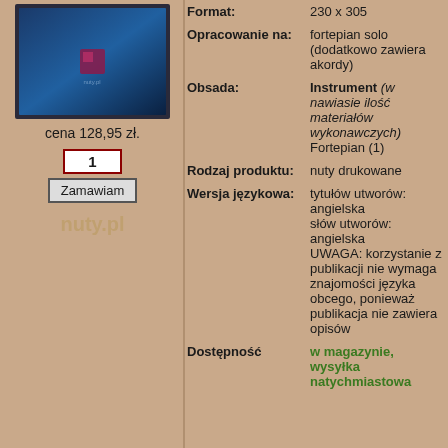[Figure (illustration): Book cover thumbnail showing blue/dark gradient with pink/maroon icon in center, framed with dark border]
cena 128,95 zł.
1
Zamawiam
nuty.pl
| Właściwość | Wartość |
| --- | --- |
| Format: | 230 x 305 |
| Opracowanie na: | fortepian solo (dodatkowo zawiera akordy) |
| Obsada: | Instrument (w nawiasie ilość materiałów wykonawczych) Fortepian (1) |
| Rodzaj produktu: | nuty drukowane |
| Wersja językowa: | tytułów utworów: angielska słów utworów: angielska UWAGA: korzystanie z publikacji nie wymaga znajomości języka obcego, ponieważ publikacja nie zawiera opisów |
| Dostępność | w magazynie, wysyłka natychmiastowa |